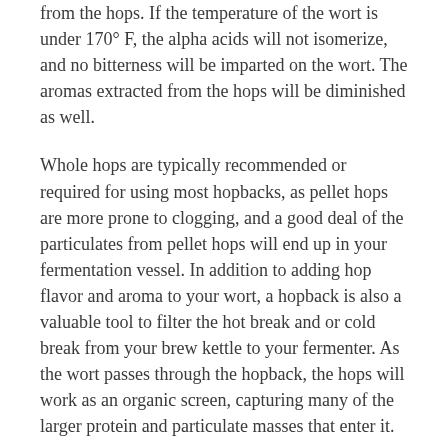from the hops. If the temperature of the wort is under 170° F, the alpha acids will not isomerize, and no bitterness will be imparted on the wort. The aromas extracted from the hops will be diminished as well.
Whole hops are typically recommended or required for using most hopbacks, as pellet hops are more prone to clogging, and a good deal of the particulates from pellet hops will end up in your fermentation vessel. In addition to adding hop flavor and aroma to your wort, a hopback is also a valuable tool to filter the hot break and or cold break from your brew kettle to your fermenter. As the wort passes through the hopback, the hops will work as an organic screen, capturing many of the larger protein and particulate masses that enter it.
Below is the Blichmann Hop Rocket that I use when a hopback is needed for one of my beers.